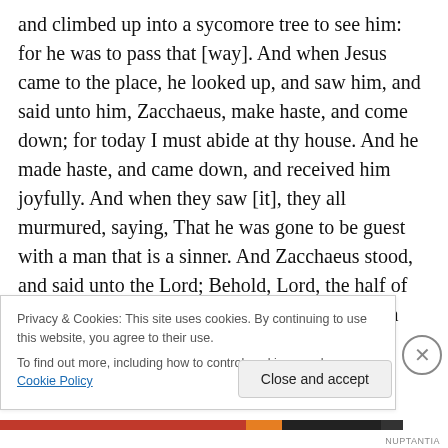and climbed up into a sycomore tree to see him: for he was to pass that [way]. And when Jesus came to the place, he looked up, and saw him, and said unto him, Zacchaeus, make haste, and come down; for today I must abide at thy house. And he made haste, and came down, and received him joyfully. And when they saw [it], they all murmured, saying, That he was gone to be guest with a man that is a sinner. And Zacchaeus stood, and said unto the Lord; Behold, Lord, the half of my goods I give to the poor; and if I have taken any thing from any man by false accusation, I restore [him] fourfold. And Jesus said unto
Privacy & Cookies: This site uses cookies. By continuing to use this website, you agree to their use. To find out more, including how to control cookies, see here: Cookie Policy
Close and accept